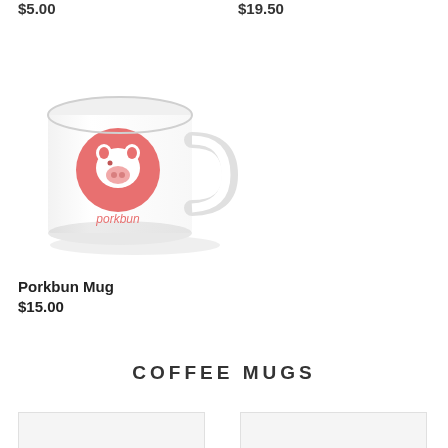$5.00
$19.50
[Figure (photo): White ceramic coffee mug with Porkbun logo - a pink circle containing a white pig icon above the text 'porkbun' in pink]
Porkbun Mug
$15.00
COFFEE MUGS
[Figure (photo): Thumbnail image placeholder left]
[Figure (photo): Thumbnail image placeholder right]